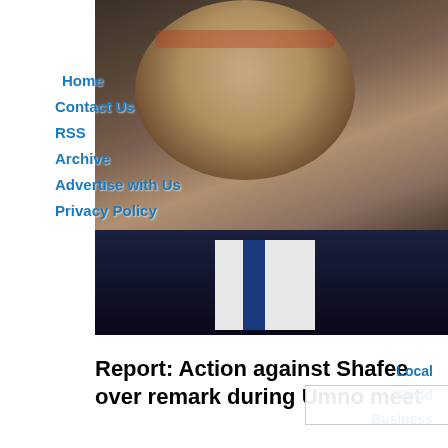[Figure (photo): Elderly South Asian man with grey beard wearing dark suit and blue tie with red-framed glasses, photographed indoors]
Home
Contact Us
RSS
Archive
Advertise with Us
Privacy Policy
Report: Action against Shafee over remark during Umno meet
Local
World
Business
Sport
Lifestyle
Entertainment
[Figure (photo): Young South Asian woman with hair up, smiling, wearing grey short-sleeve fitted top, standing outdoors near trees and a building with a fence]
Lifestyle
Features
Fashion & Beauty
Media & Marketing
Publication News
Opinion
Another Take
Be Light
Connecting Faiths